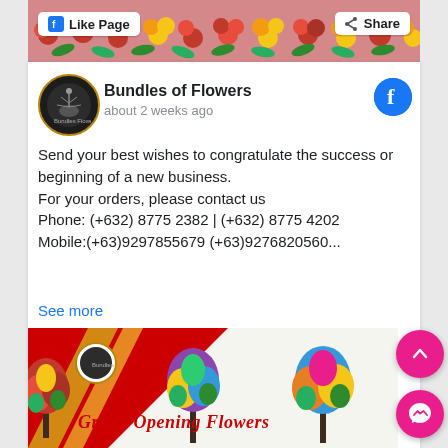[Figure (photo): Flower banner at top with Like Page and Share buttons]
Bundles of Flowers
about 2 weeks ago
Send your best wishes to congratulate the success or beginning of a new business.
For your orders, please contact us
Phone: (+632) 8775 2382 | (+632) 8775 4202
Mobile:(+63)9297855679 (+63)9276820560...
See more
[Figure (photo): Grand Opening Flowers promotional image showing colorful flower arrangements on red and white background with gold ribbon and text 'Grand Opening Flowers']